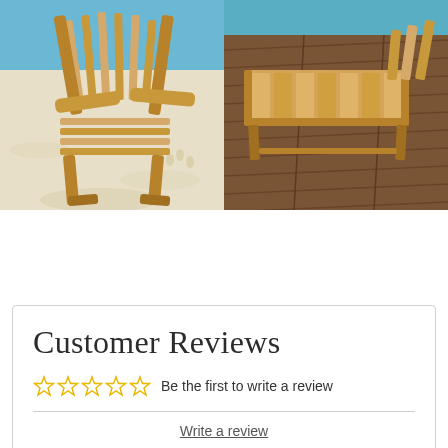[Figure (photo): Two product photos side by side: left shows a wooden Adirondack chair on a sandy beach with blue water in background; right shows a wooden footrest/ottoman on a dark wood deck with pool visible.]
Customer Reviews
Be the first to write a review
Write a review